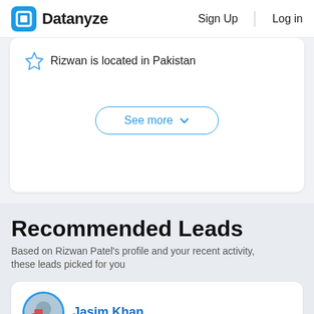Datanyze  Sign Up  Log in
Rizwan is located in Pakistan
See more
Recommended Leads
Based on Rizwan Patel's profile and your recent activity, these leads picked for you
Jasim Khan